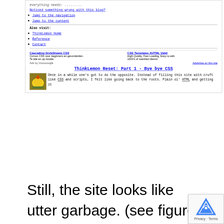[Figure (screenshot): Screenshot of a website showing navigation links, 'Also visit:' section with ThinkLemon Home, Reference, Contact links, Google ads section, and the beginning of an article titled 'ThinkLemon Reset: Part 1 - Bye bye CSS' with a thumbnail image and article text beginning 'Once in a while one's got to do the opposite...']
Still, the site looks like utter garbage. (see figure above) Some CSS is present only to emulate a text-browser/screen-reader of some sorts. For anyone with a regular browser it's no good having a single small-width column containing everything